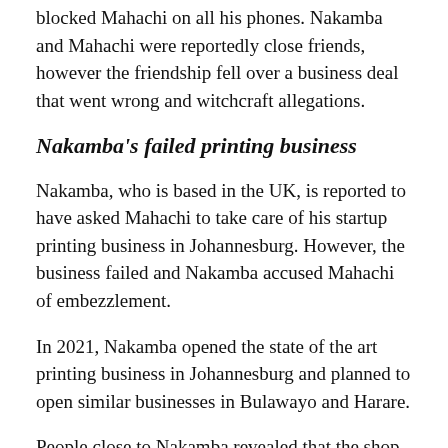blocked Mahachi on all his phones. Nakamba and Mahachi were reportedly close friends, however the friendship fell over a business deal that went wrong and witchcraft allegations.
Nakamba's failed printing business
Nakamba, who is based in the UK, is reported to have asked Mahachi to take care of his startup printing business in Johannesburg. However, the business failed and Nakamba accused Mahachi of embezzlement.
In 2021, Nakamba opened the state of the art printing business in Johannesburg and planned to open similar businesses in Bulawayo and Harare.
People close to Nakamba revealed that the shop was entrusted to con man, Alvin “Aluvah” Zhakata who ran it